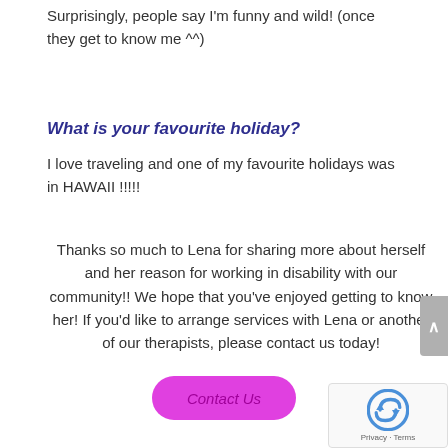Surprisingly, people say I'm funny and wild! (once they get to know me ^^)
What is your favourite holiday?
I love traveling and one of my favourite holidays was in HAWAII !!!!!
Thanks so much to Lena for sharing more about herself and her reason for working in disability with our community!! We hope that you've enjoyed getting to know her! If you'd like to arrange services with Lena or another of our therapists, please contact us today!
[Figure (other): Pink rounded button labeled 'Contact Us']